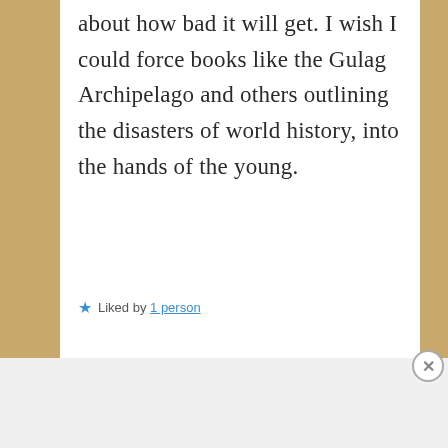about how bad it will get. I wish I could force books like the Gulag Archipelago and others outlining the disasters of world history, into the hands of the young.
Liked by 1 person
Advertisements
[Figure (infographic): Fandom on Tumblr advertisement banner with colorful gradient background]